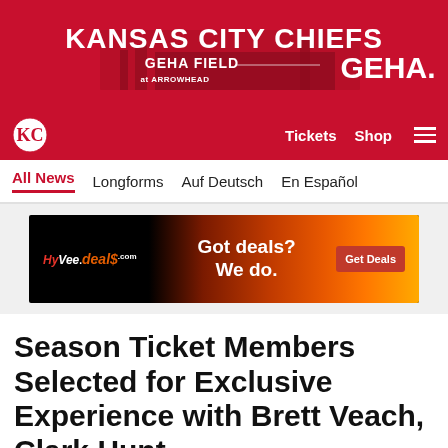[Figure (illustration): Kansas City Chiefs GEHA Field at Arrowhead stadium banner with GEHA logo on red background]
Tickets  Shop  ≡
All News   Longforms   Auf Deutsch   En Español
[Figure (illustration): HyVee.deals advertisement banner: Got deals? We do. Get Deals button on fire background]
Season Ticket Members Selected for Exclusive Experience with Brett Veach, Clark Hunt